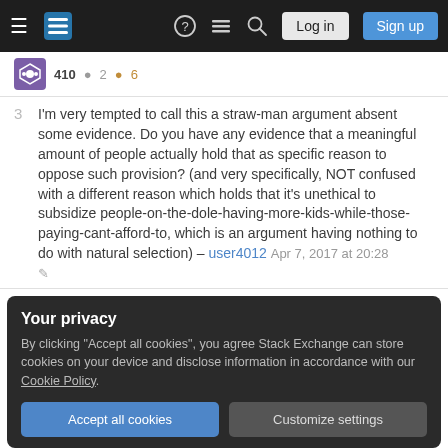Stack Exchange navigation bar with hamburger menu, logo, help, chat, search, Log in, Sign up buttons
410 ● 2 ● 6
3  I'm very tempted to call this a straw-man argument absent some evidence. Do you have any evidence that a meaningful amount of people actually hold that as specific reason to oppose such provision? (and very specifically, NOT confused with a different reason which holds that it's unethical to subsidize people-on-the-dole-having-more-kids-while-those-paying-cant-afford-to, which is an argument having nothing to do with natural selection) – user4012 Apr 7, 2017 at 20:28
Your privacy
By clicking "Accept all cookies", you agree Stack Exchange can store cookies on your device and disclose information in accordance with our Cookie Policy.
Accept all cookies
Customize settings
4 "relief would only be given in workhouses, and